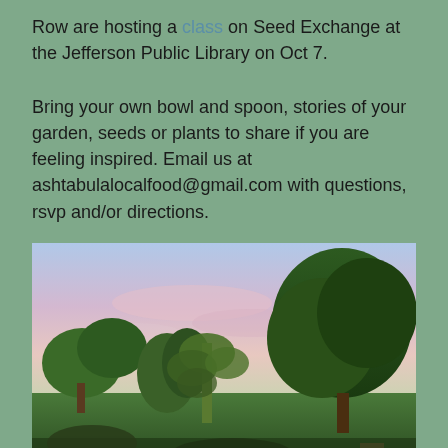Row are hosting a class on Seed Exchange at the Jefferson Public Library on Oct 7.
Bring your own bowl and spoon, stories of your garden, seeds or plants to share if you are feeling inspired. Email us at ashtabulalocalfood@gmail.com with questions, rsvp and/or directions.
[Figure (photo): Outdoor garden scene with large leafy plants and trees against a pastel pink and blue sky, with a person partially visible at the bottom right.]